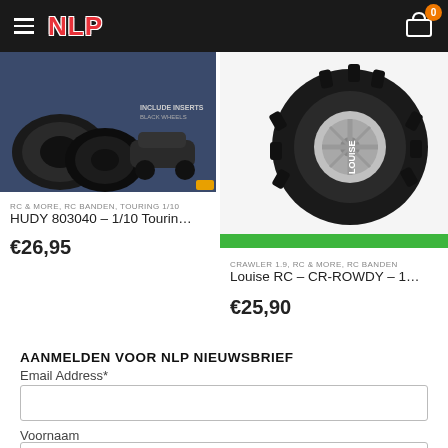[Figure (screenshot): NLP webshop header with hamburger menu, NLP logo in red, and shopping cart with badge 0]
[Figure (photo): HUDY 803040 touring car tires product image on dark blue background with small RC car]
RC & MORE, RC BANDEN, TOURING 1/10
HUDY 803040 – 1/10 Tourin…
€26,95
[Figure (photo): Louise RC CR-ROWDY crawler tires product image showing large black tire with chrome wheel on white background with green stripe]
CRAWLER 1.9, RC & MORE, RC BANDEN
Louise RC – CR-ROWDY – 1…
€25,90
AANMELDEN VOOR NLP NIEUWSBRIEF
Email Address*
Voornaam